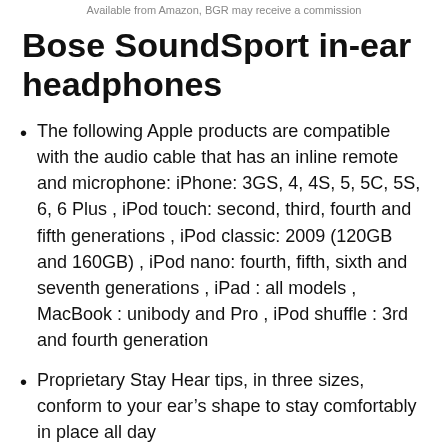Available from Amazon, BGR may receive a commission
Bose SoundSport in-ear headphones
The following Apple products are compatible with the audio cable that has an inline remote and microphone: iPhone: 3GS, 4, 4S, 5, 5C, 5S, 6, 6 Plus , iPod touch: second, third, fourth and fifth generations , iPod classic: 2009 (120GB and 160GB) , iPod nano: fourth, fifth, sixth and seventh generations , iPad : all models , MacBook : unibody and Pro , iPod shuffle : 3rd and fourth generation
Proprietary Stay Hear tips, in three sizes, conform to your ear’s shape to stay comfortably in place all day